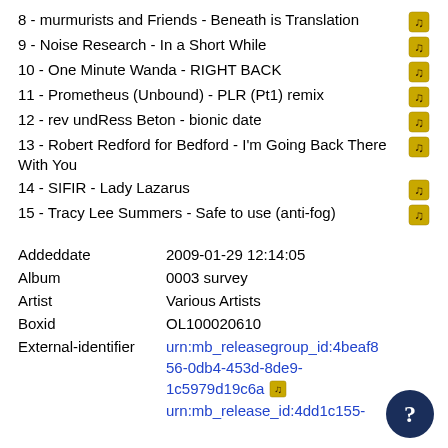8 - murmurists and Friends - Beneath is Translation
9 - Noise Research - In a Short While
10 - One Minute Wanda - RIGHT BACK
11 - Prometheus (Unbound) - PLR (Pt1) remix
12 - rev undRess Beton - bionic date
13 - Robert Redford for Bedford - I'm Going Back There With You
14 - SIFIR - Lady Lazarus
15 - Tracy Lee Summers - Safe to use (anti-fog)
| Field | Value |
| --- | --- |
| Addeddate | 2009-01-29 12:14:05 |
| Album | 0003 survey |
| Artist | Various Artists |
| Boxid | OL100020610 |
| External-identifier | urn:mb_releasegroup_id:4beaf856-0db4-453d-8de9-1c5979d19c6a  urn:mb_release_id:4dd1c155- |